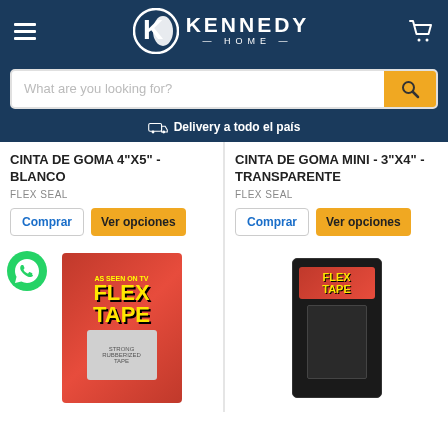[Figure (logo): Kennedy Home logo with hamburger menu and cart icon on dark blue header]
What are you looking for?
Delivery a todo el país
CINTA DE GOMA 4"X5" - BLANCO
FLEX SEAL
CINTA DE GOMA MINI - 3"X4" - TRANSPARENTE
FLEX SEAL
[Figure (photo): Flex Tape product package - grey tape roll on red background]
[Figure (photo): Flex Tape mini product - black tape on card packaging]